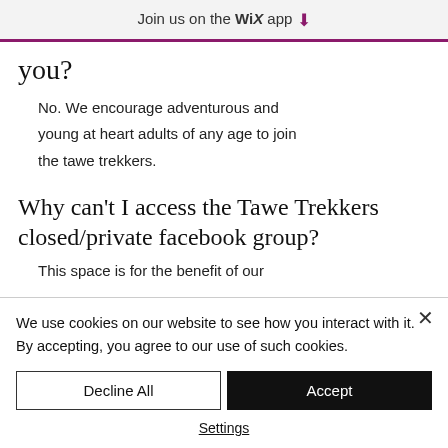Join us on the WiX app ⬇
you?
No. We encourage adventurous and young at heart adults of any age to join the tawe trekkers.
Why can't I access the Tawe Trekkers closed/private facebook group?
This space is for the benefit of our
We use cookies on our website to see how you interact with it. By accepting, you agree to our use of such cookies.
Decline All
Accept
Settings